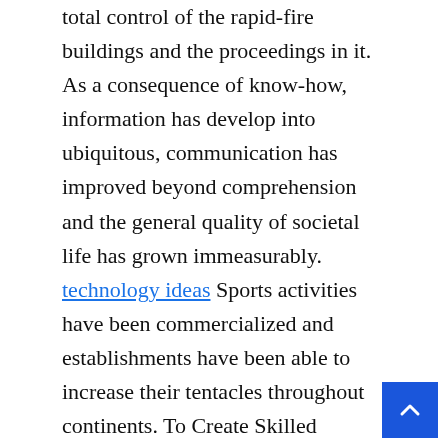total control of the rapid-fire buildings and the proceedings in it. As a consequence of know-how, information has develop into ubiquitous, communication has improved beyond comprehension and the general quality of societal life has grown immeasurably. technology ideas Sports activities have been commercialized and establishments have been able to increase their tentacles throughout continents. To Create Skilled Techniques â˜' The systems which exhibit intelligent conduct, be taught, demonstrate, explain, and recommendation its users. The Big Tech companies have arguably done what they want over time, arousing client anger and distrust, and quite a few complaints by privacy and shopper rights teams. That features cocking a snook at governments. Whereas all of the Massive Tech